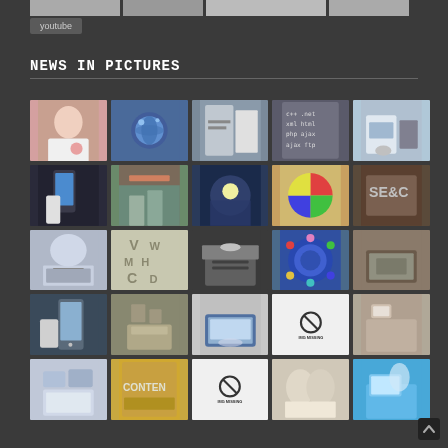youtube
NEWS IN PICTURES
[Figure (photo): Grid of 25 thumbnail images related to technology, internet, mobile devices, search, and content. Some images show missing placeholders with X symbols.]